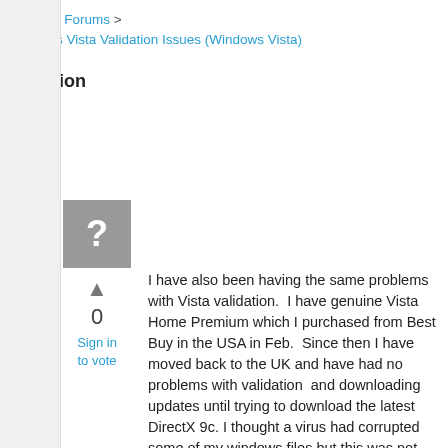Archived Forums > Windows Vista Validation Issues (Windows Vista)
Question
[Figure (illustration): Gray square avatar with a white question mark]
0
Sign in to vote
I have also been having the same problems with Vista validation.  I have genuine Vista Home Premium which I purchased from Best Buy in the USA in Feb.  Since then I have moved back to the UK and have had no problems with validation  and downloading updates until trying to download the latest DirectX 9c. I thought a virus had corrupted some of my windows files but this was not the case.  I then